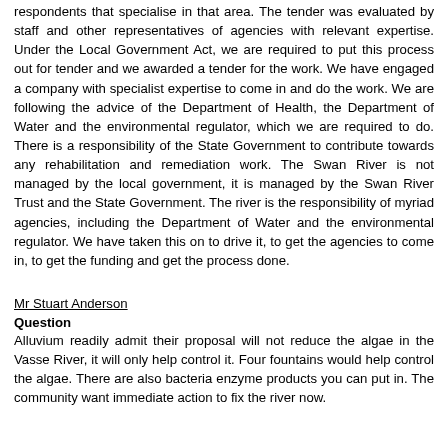respondents that specialise in that area. The tender was evaluated by staff and other representatives of agencies with relevant expertise. Under the Local Government Act, we are required to put this process out for tender and we awarded a tender for the work. We have engaged a company with specialist expertise to come in and do the work. We are following the advice of the Department of Health, the Department of Water and the environmental regulator, which we are required to do. There is a responsibility of the State Government to contribute towards any rehabilitation and remediation work. The Swan River is not managed by the local government, it is managed by the Swan River Trust and the State Government. The river is the responsibility of myriad agencies, including the Department of Water and the environmental regulator. We have taken this on to drive it, to get the agencies to come in, to get the funding and get the process done.
Mr Stuart Anderson
Question
Alluvium readily admit their proposal will not reduce the algae in the Vasse River, it will only help control it. Four fountains would help control the algae. There are also bacteria enzyme products you can put in. The community want immediate action to fix the river now.